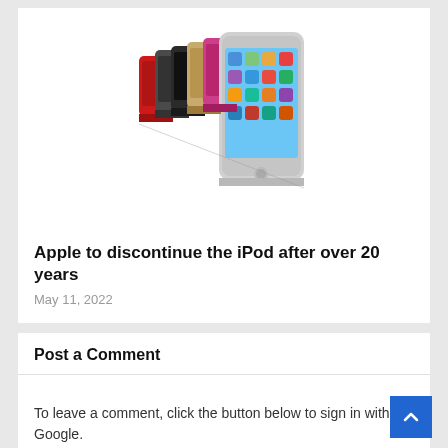[Figure (photo): Multiple iPod touch devices in various colors (red, dark grey, black, gold, pink/magenta, and white/silver) fanned out showing the front screen of the rightmost device with iOS app icons]
Apple to discontinue the iPod after over 20 years
May 11, 2022
Post a Comment
To leave a comment, click the button below to sign in with Google.
SIGN IN WITH GOOGLE